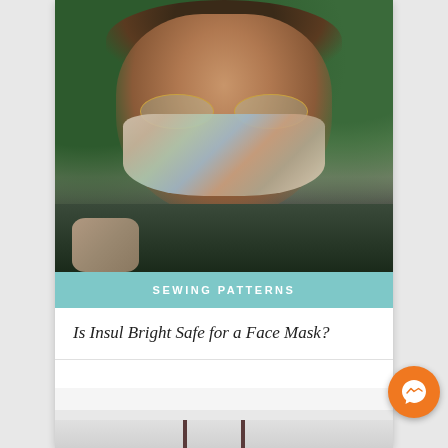[Figure (photo): Young person with curly brown hair wearing round gold-framed glasses and a colorful patterned fabric face mask, outdoors with green foliage in background, wearing a dark jacket with visible arm tattoos]
SEWING PATTERNS
Is Insul Bright Safe for a Face Mask?
[Figure (photo): Partially visible bottom image showing drinks with dark straws on a light surface]